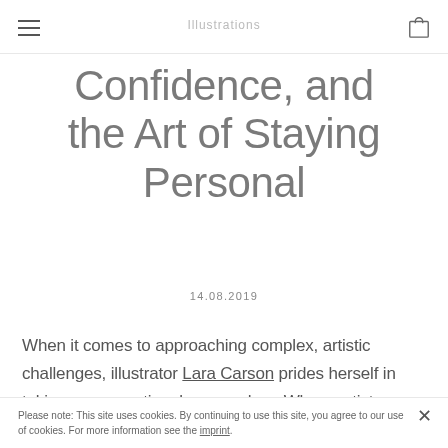≡  [site name]  🛍
Confidence, and the Art of Staying Personal
14.08.2019
When it comes to approaching complex, artistic challenges, illustrator Lara Carson prides herself in taking unconventional approaches. Where artists
Please note: This site uses cookies. By continuing to use this site, you agree to our use of cookies. For more information see the imprint.